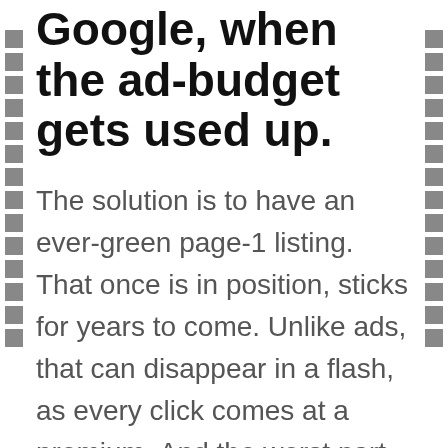Google, when the ad-budget gets used up.
The solution is to have an ever-green page-1 listing. That once is in position, sticks for years to come. Unlike ads, that can disappear in a flash, as every click comes at a premium. And the worst part is : anyone can click on it and demolish your ad budget in no time. And so the PPC option is and should be more of a supplementary approach. Or even an after thought, once the